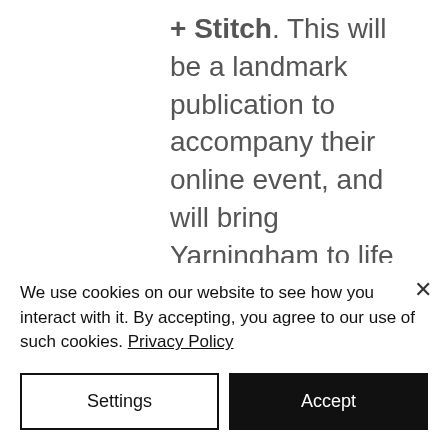+ Stitch. This will be a landmark publication to accompany their online event, and will bring Yarningham to life in a tangible and physical way. Featuring local maker spotlights, exclusive articles and thoughtful knitting and crochet patterns, it will be one of just a handful of independent, Black-led and BIPOC-centring craft publications. As someone who has self-published several books, I can vouch for how much it matters who is in charge of a publication, and who gets to prioritise and lead its focus and
We use cookies on our website to see how you interact with it. By accepting, you agree to our use of such cookies. Privacy Policy
Settings
Accept